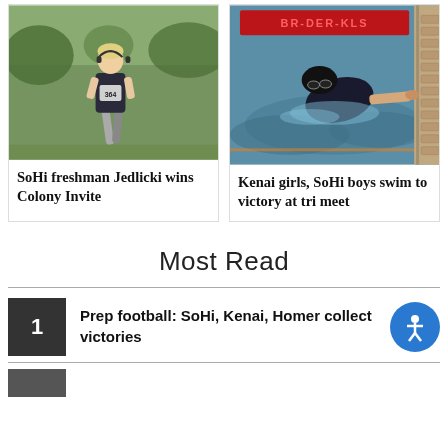[Figure (photo): Runner wearing bib number 364 and headphones in a cross country race on grass]
SoHi freshman Jedlicki wins Colony Invite
[Figure (photo): Swimmer in a pool touching the wall, red text visible in background]
Kenai girls, SoHi boys swim to victory at tri meet
Most Read
Prep football: SoHi, Kenai, Homer collect victories